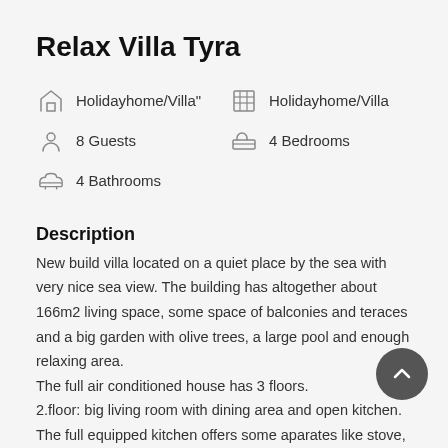Relax Villa Tyra
Holidayhome/Villa" | Holidayhome/Villa | 8 Guests | 4 Bedrooms | 4 Bathrooms
Description
New build villa located on a quiet place by the sea with very nice sea view. The building has altogether about 166m2 living space, some space of balconies and teraces and a big garden with olive trees, a large pool and enough relaxing area.
The full air conditioned house has 3 floors.
2.floor: big living room with dining area and open kitchen.
The full equipped kitchen offers some aparates like stove, microwave, water kettle, coffee machine, fridge and a